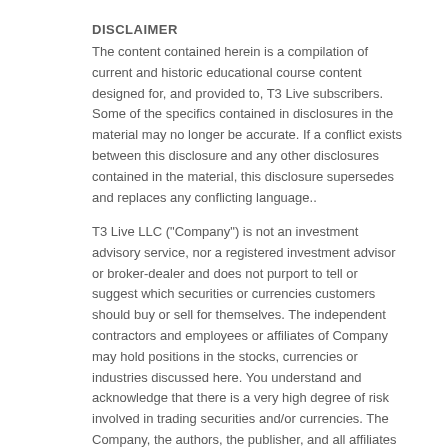DISCLAIMER
The content contained herein is a compilation of current and historic educational course content designed for, and provided to, T3 Live subscribers. Some of the specifics contained in disclosures in the material may no longer be accurate. If a conflict exists between this disclosure and any other disclosures contained in the material, this disclosure supersedes and replaces any conflicting language..
T3 Live LLC ("Company") is not an investment advisory service, nor a registered investment advisor or broker-dealer and does not purport to tell or suggest which securities or currencies customers should buy or sell for themselves. The independent contractors and employees or affiliates of Company may hold positions in the stocks, currencies or industries discussed here. You understand and acknowledge that there is a very high degree of risk involved in trading securities and/or currencies. The Company, the authors, the publisher, and all affiliates of Company assume no responsibility or liability for